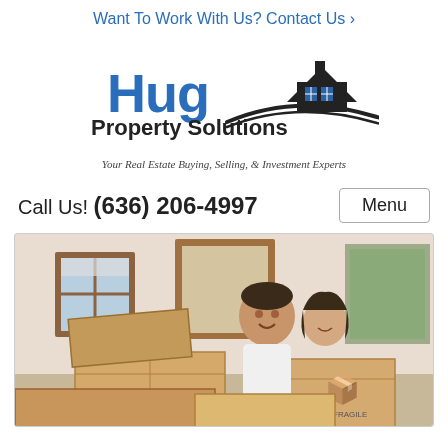Want To Work With Us? Contact Us ›
[Figure (logo): Hug Property Solutions logo with house silhouette and curved road graphic. Text reads 'Hug Property Solutions' with tagline 'Your Real Estate Buying, Selling, & Investment Experts']
Call Us! (636) 206-4997
Menu
[Figure (photo): A smiling couple carrying cardboard moving boxes inside a house with windows and a plant visible in the background]